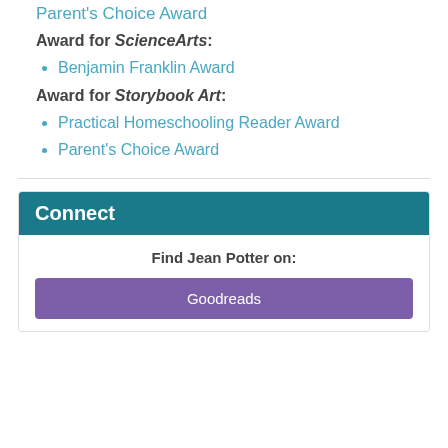Parent's Choice Award
Award for ScienceArts:
Benjamin Franklin Award
Award for Storybook Art:
Practical Homeschooling Reader Award
Parent's Choice Award
Connect
Find Jean Potter on:
Goodreads